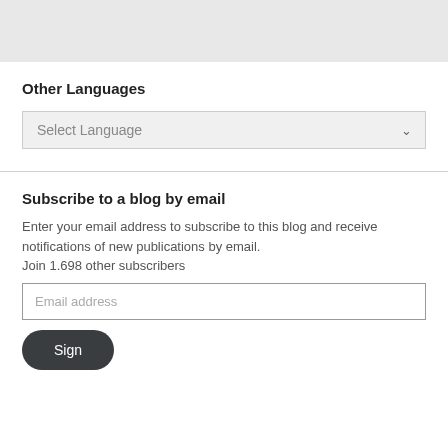Other Languages
Select Language
Subscribe to a blog by email
Enter your email address to subscribe to this blog and receive notifications of new publications by email.
Join 1.698 other subscribers
Email address
Sign